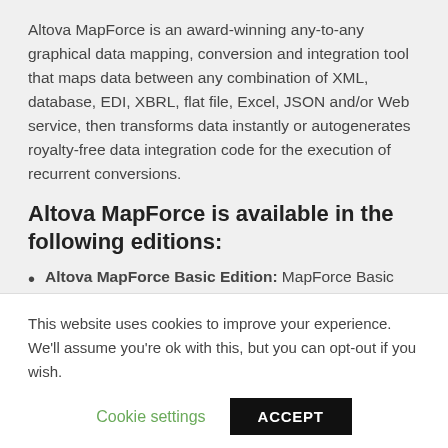Altova MapForce is an award-winning any-to-any graphical data mapping, conversion and integration tool that maps data between any combination of XML, database, EDI, XBRL, flat file, Excel, JSON and/or Web service, then transforms data instantly or autogenerates royalty-free data integration code for the execution of recurrent conversions.
Altova MapForce is available in the following editions:
Altova MapForce Basic Edition: MapForce Basic Edition is a graphical XML data mapping tool for
This website uses cookies to improve your experience. We'll assume you're ok with this, but you can opt-out if you wish.
Cookie settings   ACCEPT